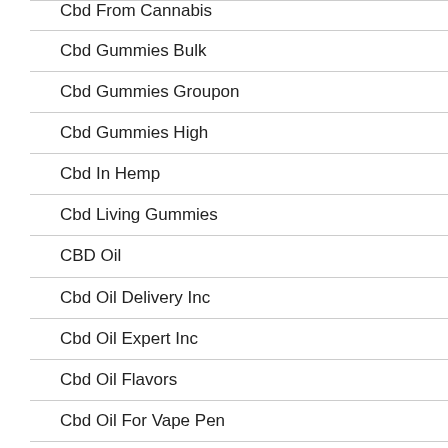Cbd From Cannabis
Cbd Gummies Bulk
Cbd Gummies Groupon
Cbd Gummies High
Cbd In Hemp
Cbd Living Gummies
CBD Oil
Cbd Oil Delivery Inc
Cbd Oil Expert Inc
Cbd Oil Flavors
Cbd Oil For Vape Pen
Cbd Oil From Hemp